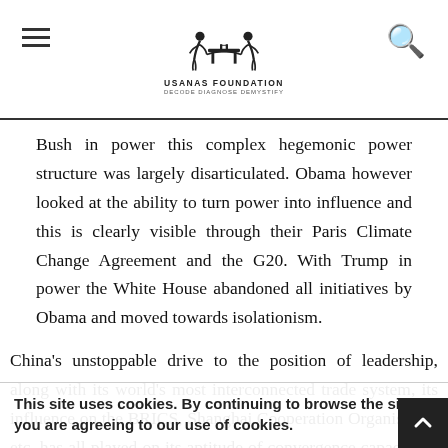USANAS FOUNDATION — DECODE DIAGNOSE DEMYSTIFY
Bush in power this complex hegemonic power structure was largely disarticulated. Obama however looked at the ability to turn power into influence and this is clearly visible through their Paris Climate Change Agreement and the G20. With Trump in power the White House abandoned all initiatives by Obama and moved towards isolationism.
China's unstoppable drive to the position of leadership, along with its world's most interconnected trade system, its influence on the BRICS, Shanghai Cooperation Organisation etc. has all played on its aptitude of convergence capacity. It has used its economic capacity to attain geopolitical footprint
This site uses cookies. By continuing to browse the site you are agreeing to our use of cookies.